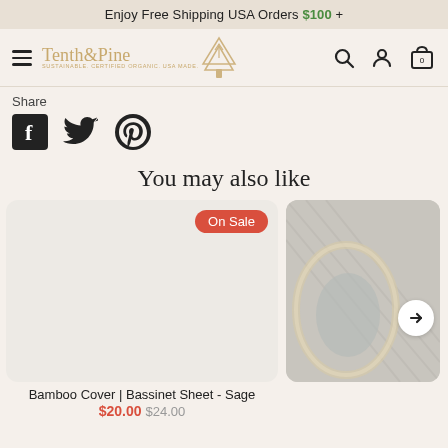Enjoy Free Shipping USA Orders $100 +
[Figure (logo): Tenth & Pine logo with tree icon and tagline: SUSTAINABLE, CERTIFIED ORGANIC, USA MADE, alongside hamburger menu, search, account, and cart icons]
Share
[Figure (illustration): Social share icons: Facebook (black square), Twitter (bird), Pinterest (P circle)]
You may also like
[Figure (photo): Product card with light gray background and On Sale badge in red]
Bamboo Cover | Bassinet Sheet - Sage
$20.00 $24.00
[Figure (photo): Second product card showing woven/braided textile product, partially visible, with a right arrow navigation button]